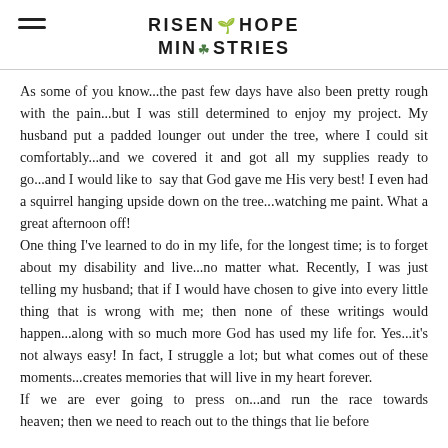RISEN HOPE MINISTRIES
As some of you know...the past few days have also been pretty rough with the pain...but I was still determined to enjoy my project. My husband put a padded lounger out under the tree, where I could sit comfortably...and we covered it and got all my supplies ready to go...and I would like to say that God gave me His very best! I even had a squirrel hanging upside down on the tree...watching me paint. What a great afternoon off!
One thing I've learned to do in my life, for the longest time; is to forget about my disability and live...no matter what. Recently, I was just telling my husband; that if I would have chosen to give into every little thing that is wrong with me; then none of these writings would happen...along with so much more God has used my life for. Yes...it's not always easy! In fact, I struggle a lot; but what comes out of these moments...creates memories that will live in my heart forever.
If we are ever going to press on...and run the race towards heaven; then we need to reach out to the things that lie before